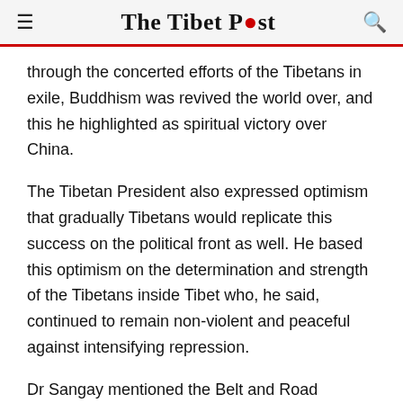The Tibet Post
through the concerted efforts of the Tibetans in exile, Buddhism was revived the world over, and this he highlighted as spiritual victory over China.
The Tibetan President also expressed optimism that gradually Tibetans would replicate this success on the political front as well. He based this optimism on the determination and strength of the Tibetans inside Tibet who, he said, continued to remain non-violent and peaceful against intensifying repression.
Dr Sangay mentioned the Belt and Road Initiative and remarked how a single road built by the Chinese in the 1950s eventually led to their occupation of Tibet as the road was later used to bring in jeeps, trucks, military and guns. He also referenced the tactics employed by the